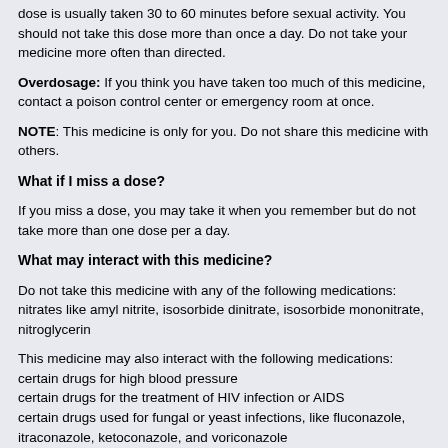dose is usually taken 30 to 60 minutes before sexual activity. You should not take this dose more than once a day. Do not take your medicine more often than directed.
Overdosage: If you think you have taken too much of this medicine, contact a poison control center or emergency room at once.
NOTE: This medicine is only for you. Do not share this medicine with others.
What if I miss a dose?
If you miss a dose, you may take it when you remember but do not take more than one dose per a day.
What may interact with this medicine?
Do not take this medicine with any of the following medications: nitrates like amyl nitrite, isosorbide dinitrate, isosorbide mononitrate, nitroglycerin
This medicine may also interact with the following medications:
certain drugs for high blood pressure
certain drugs for the treatment of HIV infection or AIDS
certain drugs used for fungal or yeast infections, like fluconazole, itraconazole, ketoconazole, and voriconazole